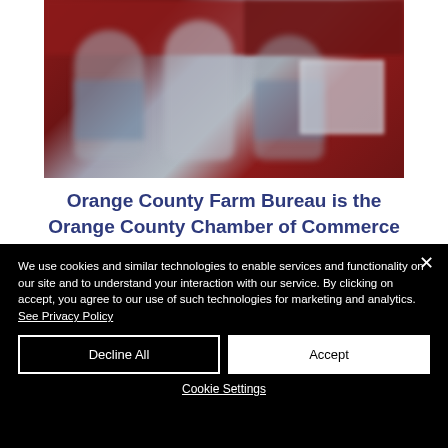[Figure (photo): Blurry photo of three people standing in front of a dark red/maroon banner background, likely an awards or recognition ceremony photo.]
Orange County Farm Bureau is the Orange County Chamber of Commerce business of
We use cookies and similar technologies to enable services and functionality on our site and to understand your interaction with our service. By clicking on accept, you agree to our use of such technologies for marketing and analytics. See Privacy Policy
Decline All
Accept
Cookie Settings